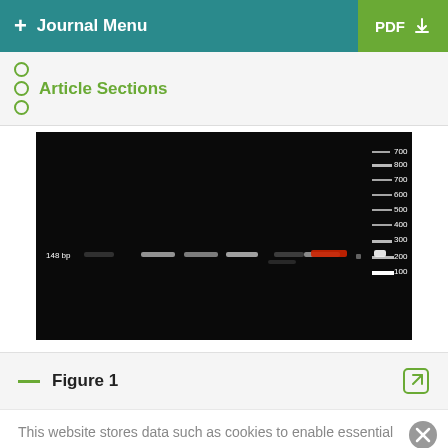+ Journal Menu   PDF
Article Sections
[Figure (photo): Gel electrophoresis image showing multiple lanes with DNA bands at approximately 148 bp, with a DNA ladder on the right showing bands at 100, 200, 300, 400, 500, 600, 700, 800 bp. One band is highlighted in red.]
Figure 1
This website stores data such as cookies to enable essential site functionality, as well as marketing, personalization, and analytics. By remaining on this website you indicate your consent. Cookie Policy